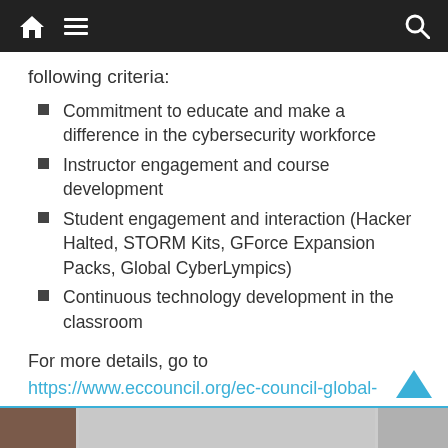Navigation bar with home, menu, and search icons
following criteria:
Commitment to educate and make a difference in the cybersecurity workforce
Instructor engagement and course development
Student engagement and interaction (Hacker Halted, STORM Kits, GForce Expansion Packs, Global CyberLympics)
Continuous technology development in the classroom
For more details, go to https://www.eccouncil.org/ec-council-global-awards/. To learn more about WNC's CTE programs, go to www.wnc.edu/cte/.
[Figure (photo): Bottom strip showing partial photos]